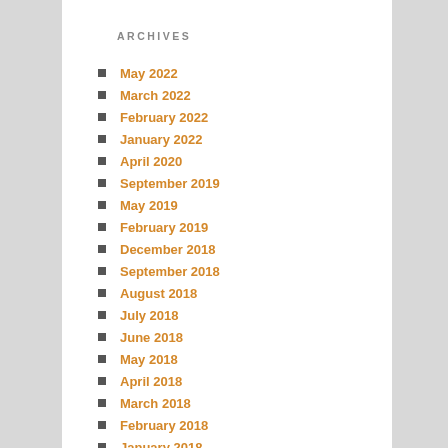ARCHIVES
May 2022
March 2022
February 2022
January 2022
April 2020
September 2019
May 2019
February 2019
December 2018
September 2018
August 2018
July 2018
June 2018
May 2018
April 2018
March 2018
February 2018
January 2018
December 2017